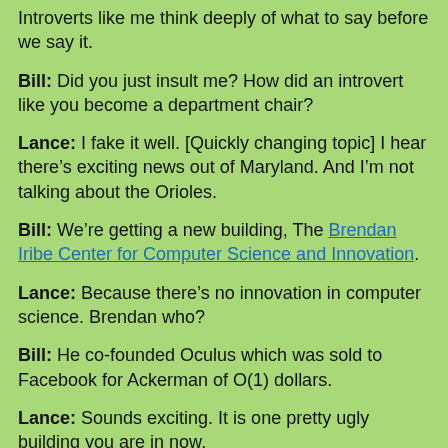Introverts like me think deeply of what to say before we say it.
Bill: Did you just insult me? How did an introvert like you become a department chair?
Lance: I fake it well. [Quickly changing topic] I hear there's exciting news out of Maryland. And I'm not talking about the Orioles.
Bill: We're getting a new building, The Brendan Iribe Center for Computer Science and Innovation.
Lance: Because there's no innovation in computer science. Brendan who?
Bill: He co-founded Oculus which was sold to Facebook for Ackerman of O(1) dollars.
Lance: Sounds exciting. It is one pretty ugly building you are in now.
Bill: Moving on, how the Complexity Conference in Vancouver?
Lance: You didn't read my blog post?